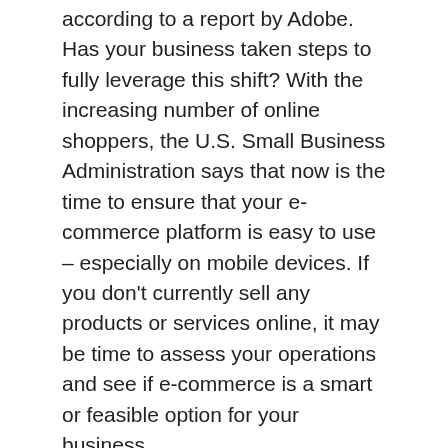according to a report by Adobe. Has your business taken steps to fully leverage this shift? With the increasing number of online shoppers, the U.S. Small Business Administration says that now is the time to ensure that your e-commerce platform is easy to use – especially on mobile devices. If you don't currently sell any products or services online, it may be time to assess your operations and see if e-commerce is a smart or feasible option for your business.
See also: 11 Curbside Pickup Tips for Your Business
2. Contactless payments and additional oversight on cash app t...